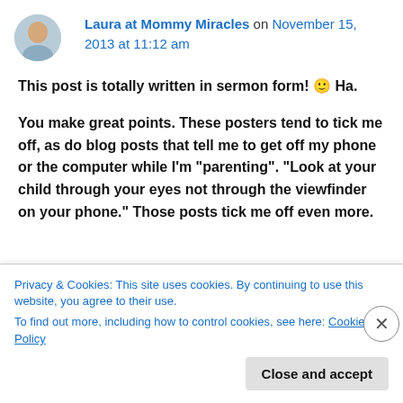Laura at Mommy Miracles on November 15, 2013 at 11:12 am
This post is totally written in sermon form! 🙂 Ha.
You make great points. These posters tend to tick me off, as do blog posts that tell me to get off my phone or the computer while I’m “parenting”. “Look at your child through your eyes not through the viewfinder on your phone.” Those posts tick me off even more.
Privacy & Cookies: This site uses cookies. By continuing to use this website, you agree to their use.
To find out more, including how to control cookies, see here: Cookie Policy